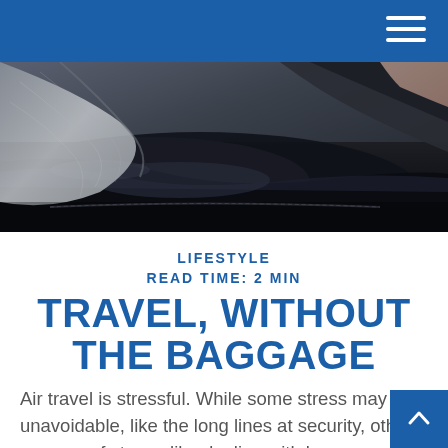[Figure (photo): Close-up photo of luggage and baggage fabric, dark tones with grey and black materials]
LIFESTYLE
READ TIME: 2 MIN
TRAVEL, WITHOUT THE BAGGAGE
Air travel is stressful. While some stress may be unavoidable, like the long lines at security, other sources of stress, like dealing with luggage check-in and baggage